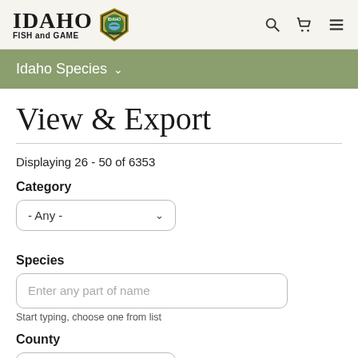IDAHO FISH and GAME — navigation header with logo and icons
Idaho Species ▾
View & Export
Displaying 26 - 50 of 6353
Category
- Any -
Species
Enter any part of name
Start typing, choose one from list
County
- Any -